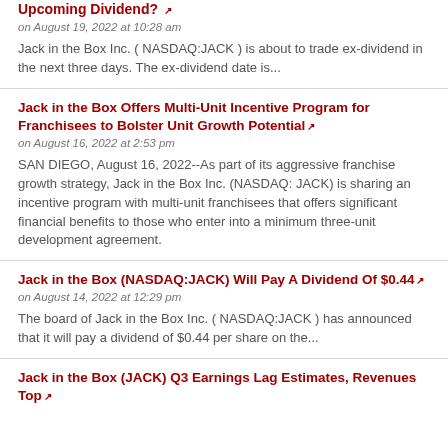Upcoming Dividend? [ext link]
on August 19, 2022 at 10:28 am
Jack in the Box Inc. ( NASDAQ:JACK ) is about to trade ex-dividend in the next three days. The ex-dividend date is...
Jack in the Box Offers Multi-Unit Incentive Program for Franchisees to Bolster Unit Growth Potential [ext link]
on August 16, 2022 at 2:53 pm
SAN DIEGO, August 16, 2022--As part of its aggressive franchise growth strategy, Jack in the Box Inc. (NASDAQ: JACK) is sharing an incentive program with multi-unit franchisees that offers significant financial benefits to those who enter into a minimum three-unit development agreement.
Jack in the Box (NASDAQ:JACK) Will Pay A Dividend Of $0.44 [ext link]
on August 14, 2022 at 12:29 pm
The board of Jack in the Box Inc. ( NASDAQ:JACK ) has announced that it will pay a dividend of $0.44 per share on the...
Jack in the Box (JACK) Q3 Earnings Lag Estimates, Revenues Top [ext link]